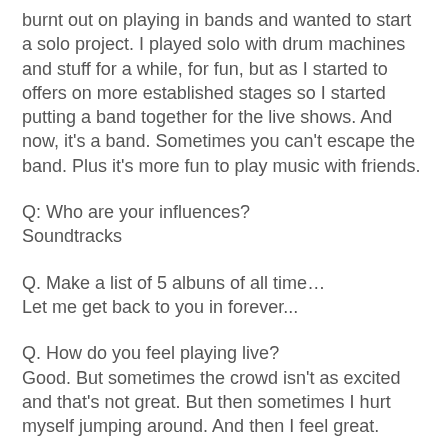burnt out on playing in bands and wanted to start a solo project. I played solo with drum machines and stuff for a while, for fun, but as I started to offers on more established stages so I started putting a band together for the live shows. And now, it's a band. Sometimes you can't escape the band. Plus it's more fun to play music with friends.
Q: Who are your influences?
Soundtracks
Q. Make a list of 5 albuns of all time…
Let me get back to you in forever...
Q. How do you feel playing live?
Good. But sometimes the crowd isn't as excited and that's not great. But then sometimes I hurt myself jumping around. And then I feel great.
Q. How do you describe Monograms´ sounds?
I have no idea. I remember someone once called us a Post-Punk version of Tame Impala. I really am terrible at describing that though so have no idea.